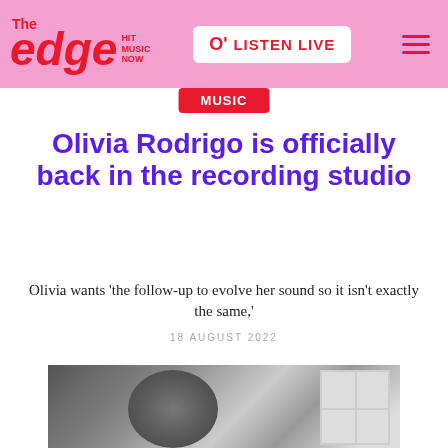The Edge HIT MUSIC NOW | LISTEN LIVE
Music
Olivia Rodrigo is officially back in the recording studio
Olivia wants 'the follow-up to evolve her sound so it isn't exactly the same,'
18 AUGUST 2022
[Figure (photo): Black and white photo of Olivia Rodrigo with eyes closed, with a stone wall and window visible in the background.]